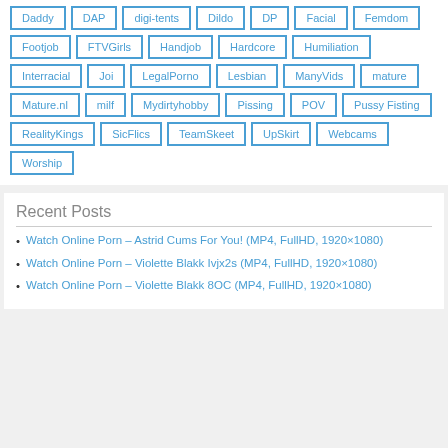Daddy
DAP
digi-tents
Dildo
DP
Facial
Femdom
Footjob
FTVGirls
Handjob
Hardcore
Humiliation
Interracial
Joi
LegalPorno
Lesbian
ManyVids
mature
Mature.nl
milf
Mydirtyhobby
Pissing
POV
Pussy Fisting
RealityKings
SicFlics
TeamSkeet
UpSkirt
Webcams
Worship
Recent Posts
Watch Online Porn – Astrid Cums For You! (MP4, FullHD, 1920×1080)
Watch Online Porn – Violette Blakk Ivjx2s (MP4, FullHD, 1920×1080)
Watch Online Porn – Violette Blakk 8OC (MP4, FullHD, 1920×1080)